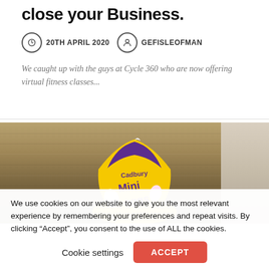close your Business.
20TH APRIL 2020   GEFISLEOFMAN
We caught up with the guys at Cycle 360 who are now offering virtual fitness classes...
[Figure (photo): Photo of Cadbury Mini Eggs package on a wooden table surface with a cup of tea visible in the top right corner]
We use cookies on our website to give you the most relevant experience by remembering your preferences and repeat visits. By clicking “Accept”, you consent to the use of ALL the cookies.